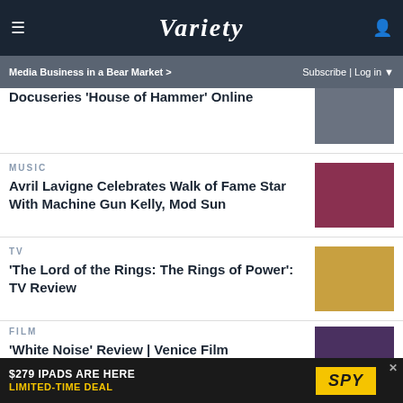VARIETY — Media Business in a Bear Market > | Subscribe | Log in
Docuseries 'House of Hammer' Online
MUSIC
Avril Lavigne Celebrates Walk of Fame Star With Machine Gun Kelly, Mod Sun
TV
'The Lord of the Rings: The Rings of Power': TV Review
FILM
'White Noise' Review | Venice Film
[Figure (screenshot): Advertisement banner: $279 IPADS ARE HERE LIMITED-TIME DEAL / SPY]